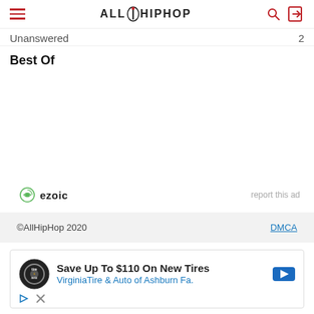ALLHIPHOP
Unanswered
Best Of
ezoic   report this ad
©AllHipHop 2020   DMCA
[Figure (other): Advertisement: Save Up To $110 On New Tires - Virginia Tire & Auto of Ashburn Fa.]